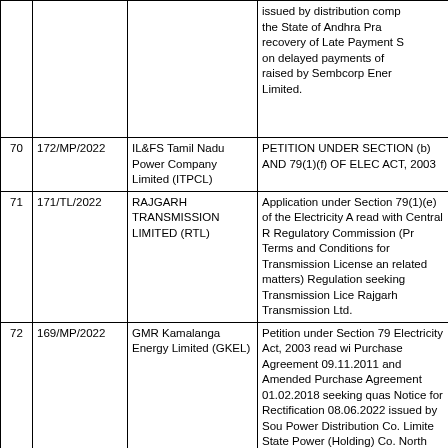| # | Case No. | Petitioner | Subject |
| --- | --- | --- | --- |
|  |  |  | issued by distribution comp the State of Andhra Pra recovery of Late Payment S on delayed payments of raised by Sembcorp Ener Limited. |
| 70 | 172/MP/2022 | IL&FS Tamil Nadu Power Company Limited (ITPCL) | PETITION UNDER SECTION (b) AND 79(1)(f) OF ELEC ACT, 2003 |
| 71 | 171/TL/2022 | RAJGARH TRANSMISSION LIMITED (RTL) | Application under Section 79(1)(e) of the Electricity A read with Central R Regulatory Commission (Pr Terms and Conditions for Transmission License an related matters) Regulation seeking Transmission Lice Rajgarh Transmission Ltd. |
| 72 | 169/MP/2022 | GMR Kamalanga Energy Limited (GKEL) | Petition under Section 79 Electricity Act, 2003 read wi Purchase Agreement 09.11.2011 and Amended Purchase Agreement 01.02.2018 seeking quas Notice for Rectification 08.06.2022 issued by Sou Power Distribution Co. Limite State Power (Holding) Co. North Bihar Power Distrib |